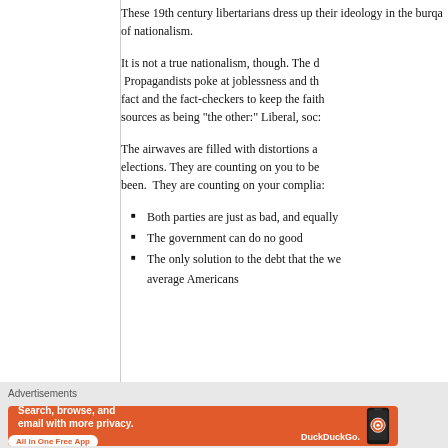These 19th century libertarians dress up their ideology in the burqa of nationalism.
It is not a true nationalism, though. The d... Propagandists poke at joblessness and th... fact and the fact-checkers to keep the faith... sources as being "the other:" Liberal, soc...
The airwaves are filled with distortions a... elections. They are counting on you to be... been. They are counting on your complia...
Both parties are just as bad, and equally...
The government can do no good
The only solution to the debt that the we... average Americans
Advertisements
Advertisements
[Figure (screenshot): DuckDuckGo advertisement banner: orange background with text 'Search, browse, and email with more privacy. All in One Free App' and a phone showing DuckDuckGo app icon.]